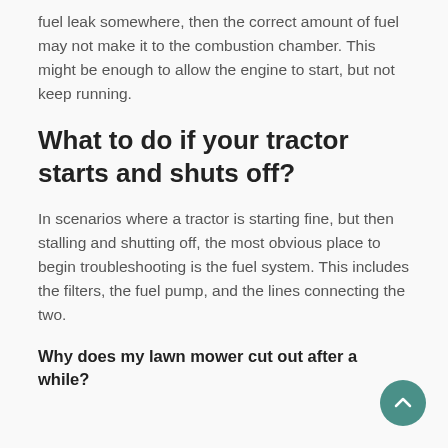fuel leak somewhere, then the correct amount of fuel may not make it to the combustion chamber. This might be enough to allow the engine to start, but not keep running.
What to do if your tractor starts and shuts off?
In scenarios where a tractor is starting fine, but then stalling and shutting off, the most obvious place to begin troubleshooting is the fuel system. This includes the filters, the fuel pump, and the lines connecting the two.
Why does my lawn mower cut out after a while?